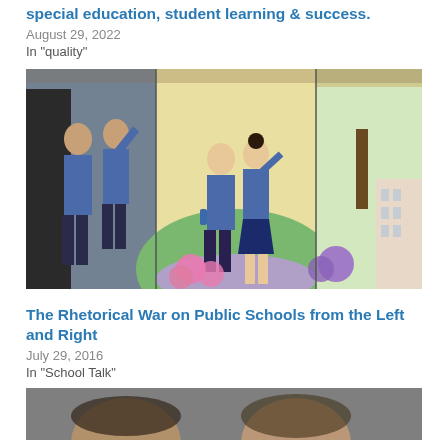special education, student learning & success.
August 29, 2022
In "quality"
[Figure (photo): Photo on left shows three children in blue school uniforms waving; center and right panels show a painted mural of two school children in blue uniforms walking together, with flowers, trees, and a building in the background.]
The Rhetorical War on Public Schools from the Left and Right
July 29, 2016
In "School Talk"
[Figure (photo): Partial photo showing the top of two people's heads, cropped at bottom of page.]